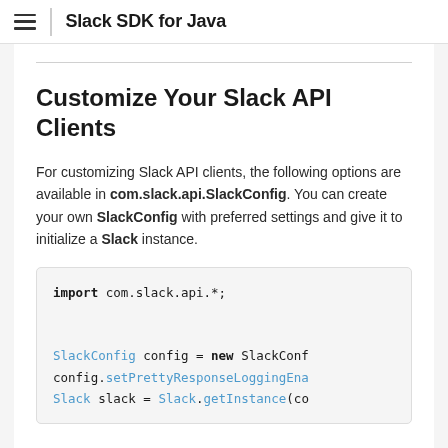Slack SDK for Java
Customize Your Slack API Clients
For customizing Slack API clients, the following options are available in com.slack.api.SlackConfig. You can create your own SlackConfig with preferred settings and give it to initialize a Slack instance.
import com.slack.api.*;

SlackConfig config = new SlackConf
config.setPrettyResponseLoggingEna
Slack slack = Slack.getInstance(co